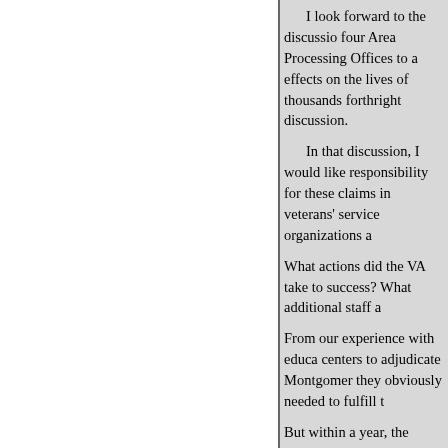I look forward to the discussion four Area Processing Offices to a effects on the lives of thousands forthright discussion.
In that discussion, I would like responsibility for these claims in veterans' service organizations a
What actions did the VA take to success? What additional staff a
From our experience with educa centers to adjudicate Montgomer they obviously needed to fulfill t
But within a year, the necessary out reasonably well. Apparently necessary to meet their challeng
And I want to know how and wh would be the word, by assertions the thousands of Persian Gulf W early June.
I'd like to know how you prop
These are, I think, very importa